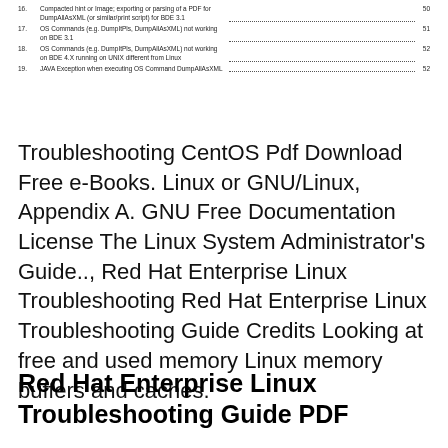16. Compacted hint or Image; exporting or parsing of a PDF for DumpAllAsXML (or similar/print script) for BDE 3.1 ..... 50
17. OS Commands (e.g. DumpItPls, DumpAllAsXML) not working on BDE 3.1 ..... 51
18. OS Commands (e.g. DumpItPls, DumpAllAsXML) not working on BDE 4.X running on UNIX different from Linux ..... 52
19. JAVA Exception when executing OS Command DumpAllAsXML ..... 52
Troubleshooting CentOS Pdf Download Free e-Books. Linux or GNU/Linux, Appendix A. GNU Free Documentation License The Linux System Administrator's Guide.., Red Hat Enterprise Linux Troubleshooting Red Hat Enterprise Linux Troubleshooting Guide Credits Looking at free and used memory Linux memory buffers and caches.
Red Hat Enterprise Linux Troubleshooting Guide PDF